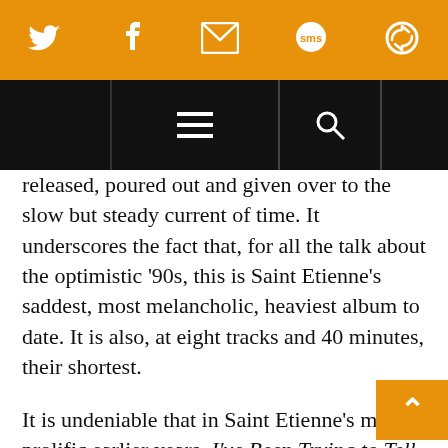[Figure (screenshot): Orange top navigation bar with social media icons: Twitter bird, Facebook f, envelope/email, SMS speech bubble, and a circular arrow/share icon]
[Figure (screenshot): Black navigation bar with hamburger menu lines in center and a search magnifying glass icon on the right]
released, poured out and given over to the slow but steady current of time. It underscores the fact that, for all the talk about the optimistic ’90s, this is Saint Etienne’s saddest, most melancholic, heaviest album to date. It is also, at eight tracks and 40 minutes, their shortest.
It is undeniable that in Saint Etienne’s more prolific earlier years, I’ve Been Trying to Tell You would existed as one of their many bonus discs or fa… (text cut off)